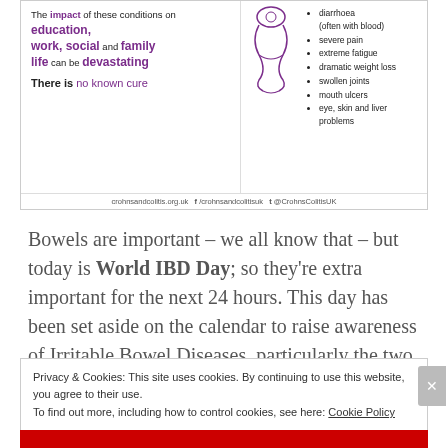[Figure (infographic): Crohn's & Colitis UK infographic showing impact of conditions on education, work, social and family life, symptoms list including diarrhoea, severe pain, extreme fatigue, dramatic weight loss, swollen joints, mouth ulcers, eye skin and liver problems, gut illustration, and website/social media footer]
Bowels are important – we all know that – but today is World IBD Day; so they're extra important for the next 24 hours. This day has been set aside on the calendar to raise awareness of Irritable Bowel Diseases, particularly the two most common in the UK: Crohn's & Ulcerative Colitis.
Privacy & Cookies: This site uses cookies. By continuing to use this website, you agree to their use. To find out more, including how to control cookies, see here: Cookie Policy
Close and accept